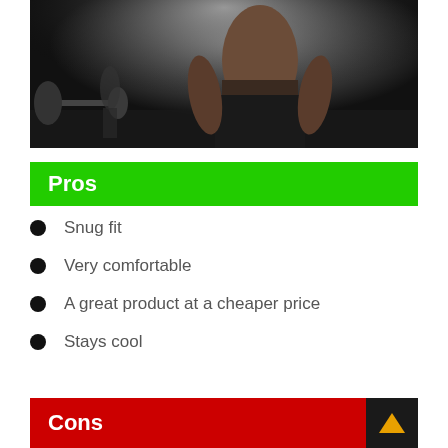[Figure (photo): Athletic shirtless man in a gym setting with barbells in the background, black and white/dark toned image]
Pros
Snug fit
Very comfortable
A great product at a cheaper price
Stays cool
Cons